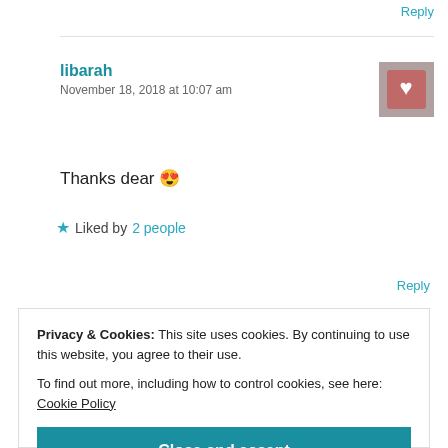Reply
libarah
November 18, 2018 at 10:07 am
Thanks dear 😍
★ Liked by 2 people
Reply
Privacy & Cookies: This site uses cookies. By continuing to use this website, you agree to their use.
To find out more, including how to control cookies, see here: Cookie Policy
Close and accept